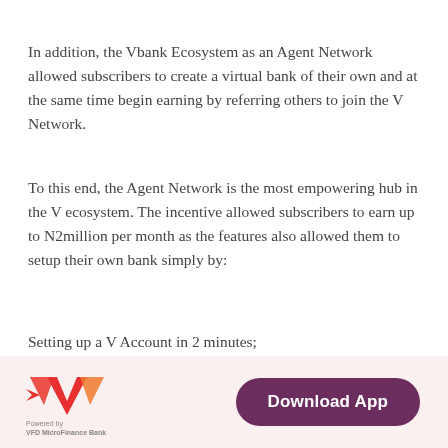In addition, the Vbank Ecosystem as an Agent Network allowed subscribers to create a virtual bank of their own and at the same time begin earning by referring others to join the V Network.
To this end, the Agent Network is the most empowering hub in the V ecosystem. The incentive allowed subscribers to earn up to N2million per month as the features also allowed them to setup their own bank simply by:
Setting up a V Account in 2 minutes;
Generate a unique ID and referral code to share with family and friends;
[Figure (logo): Vbank V logo in red/orange gradient with wings, with 'Powered by VFD MicroFinance Bank' text below]
Download App